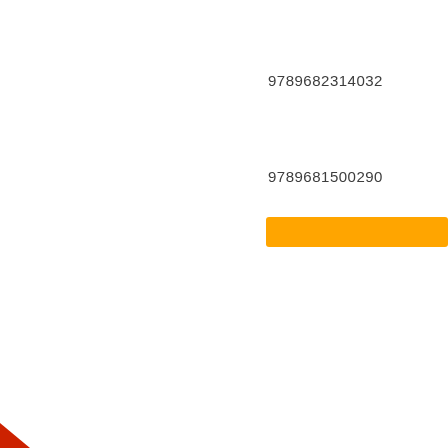9789682314032
9789681500290
[Figure (other): Orange horizontal bar/button element extending to the right edge of the page]
[Figure (other): Small red/orange shape partially visible at the bottom-left corner of the page]